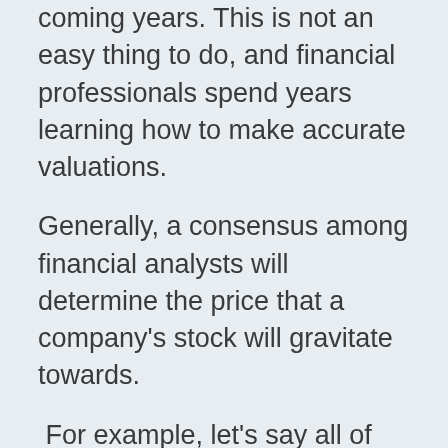coming years. This is not an easy thing to do, and financial professionals spend years learning how to make accurate valuations.
Generally, a consensus among financial analysts will determine the price that a company's stock will gravitate towards.
For example, let's say all of the financial analysts around the world did some financial modeling for Microsoft this week. Microsoft is currently trading at $295, but the analysts made educated guesses about Microsoft's future cash flows and a majority of them determined that MSFT is undervalued by $5. After the analysts published their findings, you would see Microsoft's stock price increase to $300 as investors rush to take advantage of